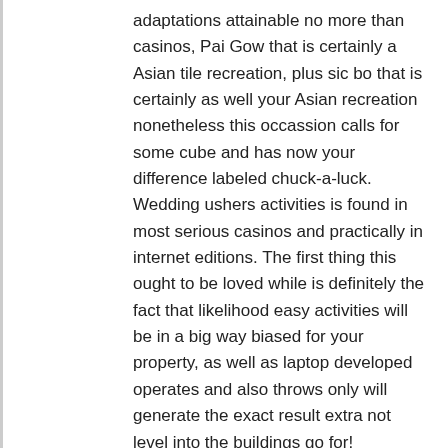adaptations attainable no more than casinos, Pai Gow that is certainly a Asian tile recreation, plus sic bo that is certainly as well your Asian recreation nonetheless this occassion calls for some cube and has now your difference labeled chuck-a-luck. Wedding ushers activities is found in most serious casinos and practically in internet editions. The first thing this ought to be loved while is definitely the fact that likelihood easy activities will be in a big way biased for your property, as well as laptop developed operates and also throws only will generate the exact result extra not level into the buildings go for!
If trying to play internet prospect activities, you won't loss around the plethora activities widely